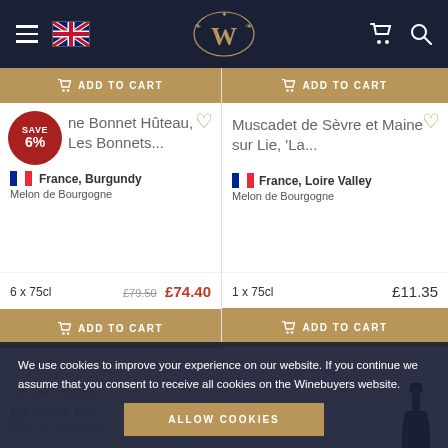Winebuyers navigation bar with hamburger menu, UK flag, logo, cart and search icons
[Figure (screenshot): Top 'ADD TO CART' buttons (partial, from previous product row)]
SAVE 6%
ne Bonnet Huteau, Les Bonnets...
France, Burgundy
Melon de Bourgogne
6 x 75cl   £79.50  £74.40
ADD TO CART
Muscadet de Sèvre et Maine sur Lie, 'La...
France, Loire Valley
Melon de Bourgogne
1 x 75cl   £11.35
ADD TO CART
Sur Lie Prestige 2...
France, Bur...
Melon de Bourgogne
We use cookies to improve your experience on our website. If you continue we assume that you consent to receive all cookies on the Winebuyers website.
ALLOW COOKIES